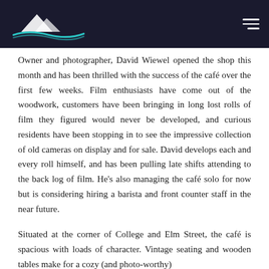[Logo] [Navigation menu icon]
Owner and photographer, David Wiewel opened the shop this month and has been thrilled with the success of the café over the first few weeks. Film enthusiasts have come out of the woodwork, customers have been bringing in long lost rolls of film they figured would never be developed, and curious residents have been stopping in to see the impressive collection of old cameras on display and for sale. David develops each and every roll himself, and has been pulling late shifts attending to the back log of film. He's also managing the café solo for now but is considering hiring a barista and front counter staff in the near future.
Situated at the corner of College and Elm Street, the café is spacious with loads of character. Vintage seating and wooden tables make for a cozy (and photo-worthy)